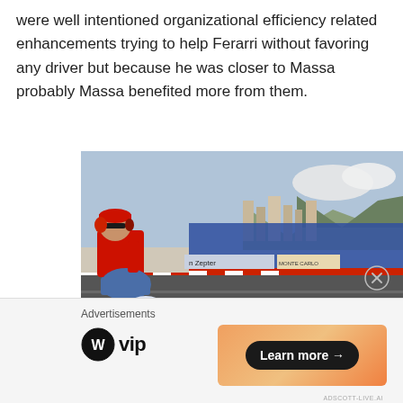were well intentioned organizational efficiency related enhancements trying to help Ferarri without favoring any driver but because he was closer to Massa probably Massa benefited more from them.
[Figure (photo): A Ferrari racing team member in red jacket and cap with headphones sits on a pit wall or elevated position overlooking the Monaco Grand Prix circuit, with grandstands full of spectators, Monaco city buildings, and mountains in the background. Sponsor banners including Zepter and Monte Carlo are visible on the circuit barriers.]
Advertisements
[Figure (logo): WordPress VIP logo — circular W icon followed by 'vip' text in bold]
[Figure (other): Advertisement banner with orange gradient background containing a black pill-shaped 'Learn more →' button]